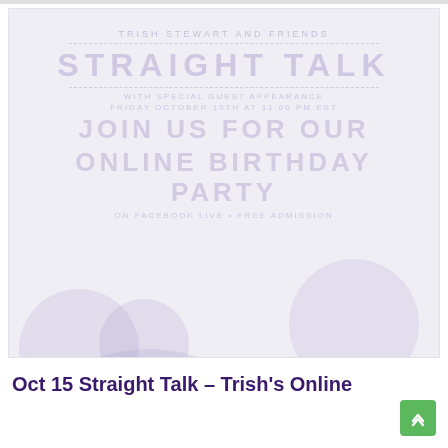[Figure (illustration): Faded/watermark-style promotional image for 'Straight Talk' event with text overlays showing 'STRAIGHT TALK', 'JOIN US FOR OUR ONLINE BIRTHDAY PARTY' and decorative shapes suggesting people or balloons in very light purple tones]
Oct 15 Straight Talk – Trish's Online